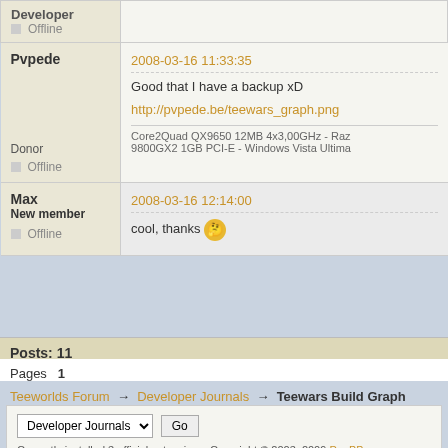| User | Post |
| --- | --- |
| Developer
Offline |  |
| Pvpede
Donor
Offline | 2008-03-16 11:33:35
Good that I have a backup xD
http://pvpede.be/teewars_graph.png
Core2Quad QX9650 12MB 4x3,00GHz - Raz 9800GX2 1GB PCI-E - Windows Vista Ultima |
| Max
New member
Offline | 2008-03-16 12:14:00
cool, thanks |
Posts: 11
Pages  1
Teeworlds Forum → Developer Journals → Teewars Build Graph
Currently installed 3 official extensions. Copyright © 2003–2009 PunBB.